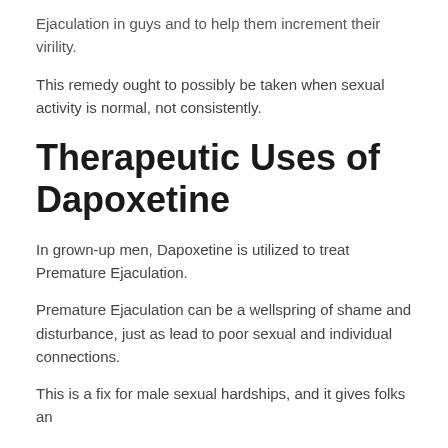Ejaculation in guys and to help them increment their virility.
This remedy ought to possibly be taken when sexual activity is normal, not consistently.
Therapeutic Uses of Dapoxetine
In grown-up men, Dapoxetine is utilized to treat Premature Ejaculation.
Premature Ejaculation can be a wellspring of shame and disturbance, just as lead to poor sexual and individual connections.
This is a fix for male sexual hardships, and it gives folks an